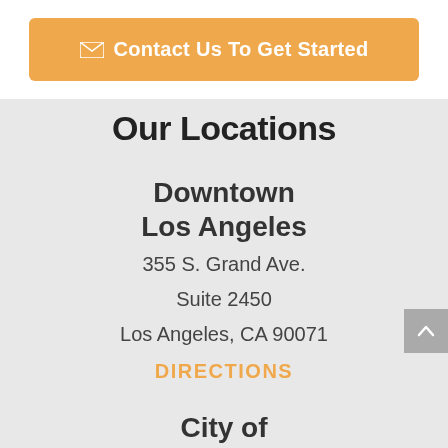Contact Us To Get Started
Our Locations
Downtown Los Angeles
355 S. Grand Ave.
Suite 2450
Los Angeles, CA 90071
DIRECTIONS
City of Industry